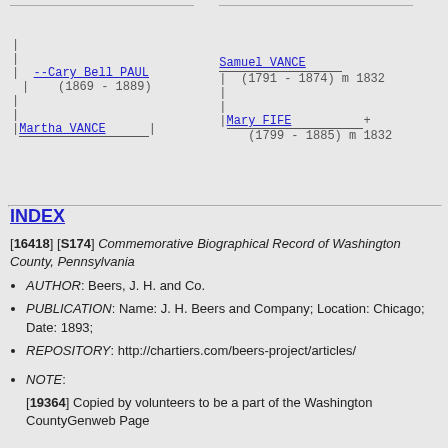--Cary Bell PAUL (1869 - 1889) | Martha VANCE | Samuel VANCE (1791 - 1874) m 1832 | Mary FIFE + (1799 - 1885) m 1832
INDEX
[16418] [S174] Commemorative Biographical Record of Washington County, Pennsylvania
AUTHOR: Beers, J. H. and Co.
PUBLICATION: Name: J. H. Beers and Company; Location: Chicago; Date: 1893;
REPOSITORY: http://chartiers.com/beers-project/articles/
NOTE:
[19364] Copied by volunteers to be a part of the Washington CountyGenweb Page